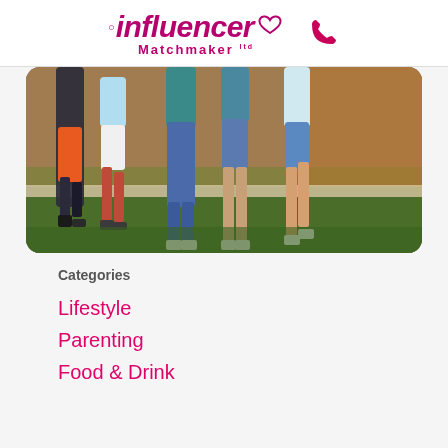[Figure (logo): Influencer Matchmaker Ltd logo with stylized pink italic text, small ring and heart icons, and a pink phone icon to the right]
[Figure (photo): Photo showing the lower bodies and legs of a group of children and teenagers standing on grass in a park, wearing casual clothing including jeans and shorts]
Categories
Lifestyle
Parenting
Food & Drink